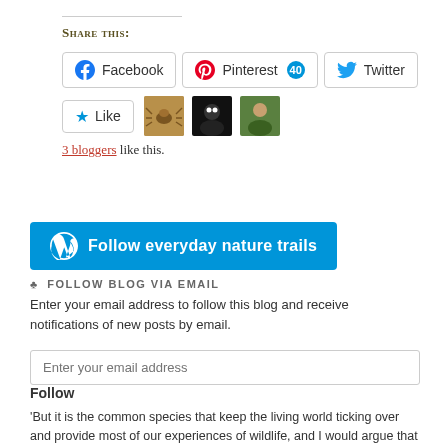Share this:
[Figure (screenshot): Social sharing buttons: Facebook, Pinterest (40), Twitter]
3 bloggers like this.
[Figure (screenshot): Follow everyday nature trails button (WordPress)]
♣ FOLLOW BLOG VIA EMAIL
Enter your email address to follow this blog and receive notifications of new posts by email.
Follow
'But it is the common species that keep the living world ticking over and provide most of our experiences of wildlife, and I would argue that maintaining the abundance of